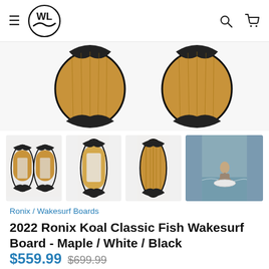WL logo / hamburger menu / search / cart
[Figure (photo): Two wakesurf boards (fish shape with maple wood and black edges) shown from below/tail, side by side, cropped at top of product listing page]
[Figure (photo): Thumbnail 1: Two Ronix Koal Classic Fish wakesurf boards side by side, top view showing white deck with wood center, black outline]
[Figure (photo): Thumbnail 2: Single Ronix Koal Classic Fish wakesurf board, top view]
[Figure (photo): Thumbnail 3: Single wakesurf board, bottom/deck, wood finish]
[Figure (photo): Thumbnail 4: Person wakesurfing on water using a white board]
Ronix / Wakesurf Boards
2022 Ronix Koal Classic Fish Wakesurf Board - Maple / White / Black
$559.99  $699.99
Pay in 4 interest-free installments of $139.99 with Shop Pay